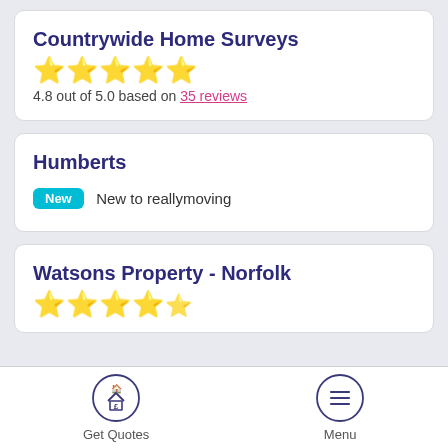Countrywide Home Surveys
★★★★★ 4.8 out of 5.0 based on 35 reviews
Humberts
New  New to reallymoving
Watsons Property - Norfolk
★★★★★
Get Quotes   Menu